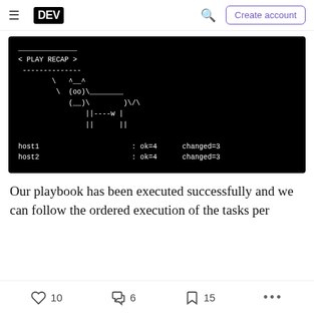DEV | Create account
[Figure (screenshot): Terminal output showing Ansible PLAY RECAP with ASCII art cow and host results: host1 ok=4 changed=3, host2 ok=4 changed=3]
Our playbook has been executed successfully and we can follow the ordered execution of the tasks per
10 reactions, 6 comments, 15 bookmarks